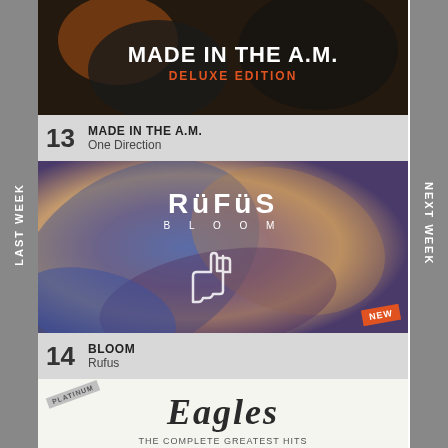LAST WEEK
[Figure (photo): Album art for Made in the A.M. Deluxe Edition by One Direction – dark photo of band members with orange/red title text overlay]
13  MADE IN THE A.M.  One Direction
[Figure (photo): Album art for Bloom by Rufus – swirling abstract paint texture in blue, brown and pink with RüFüs Bloom logo and a hand cursor icon; NEW badge in corner]
14  BLOOM  Rufus
[Figure (photo): Album art for The Complete Greatest Hits by Eagles – white background with Eagles gothic logo and ornate robotic eagle figure; PLATINUM badge]
NEXT WEEK